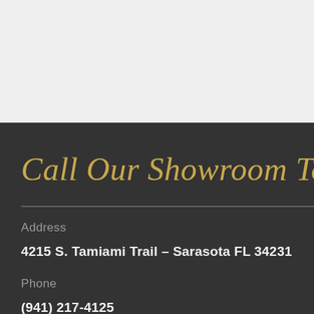[Figure (photo): Light grey textured background area at top of page]
Call Our Showroom Today fo
Address
4215 S. Tamiami Trail – Sarasota FL 34231
Phone
(941) 217-4125